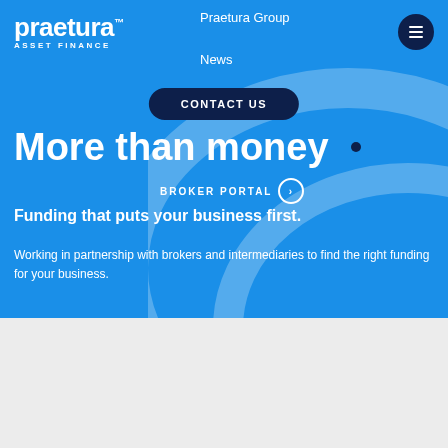[Figure (logo): Praetura Asset Finance logo in white on blue background]
Praetura Group
News
CONTACT US
More than money •
BROKER PORTAL ›
Funding that puts your business first.
Working in partnership with brokers and intermediaries to find the right funding for your business.